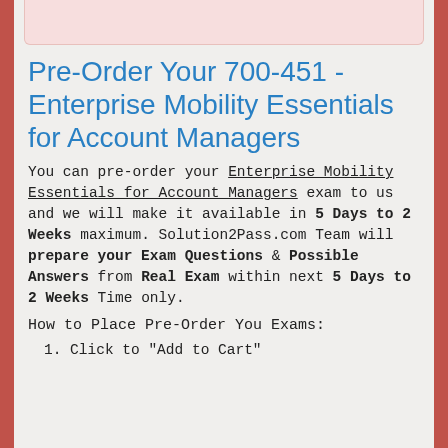Pre-Order Your 700-451 - Enterprise Mobility Essentials for Account Managers
You can pre-order your Enterprise Mobility Essentials for Account Managers exam to us and we will make it available in 5 Days to 2 Weeks maximum. Solution2Pass.com Team will prepare your Exam Questions & Possible Answers from Real Exam within next 5 Days to 2 Weeks Time only.
How to Place Pre-Order You Exams:
1. Click to "Add to Cart"